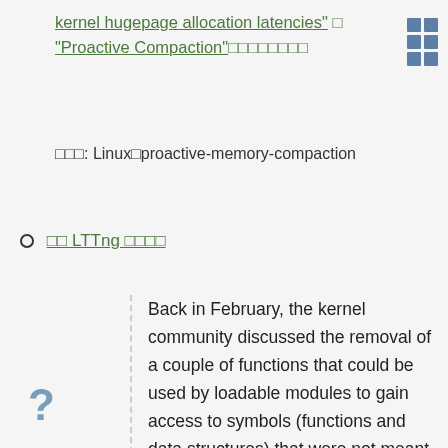kernel hugepage allocation latencies" □ "Proactive Compaction"□□□□□□□□
□□□: Linux□proactive-memory-compaction
□□ LTTng □□□□
Back in February, the kernel community discussed the removal of a couple of functions that could be used by loadable modules to gain access to symbols (functions and data structures) that were not meant to be available to them. That change was merged during the 5.7 merge window. This change will break a number of external modules that